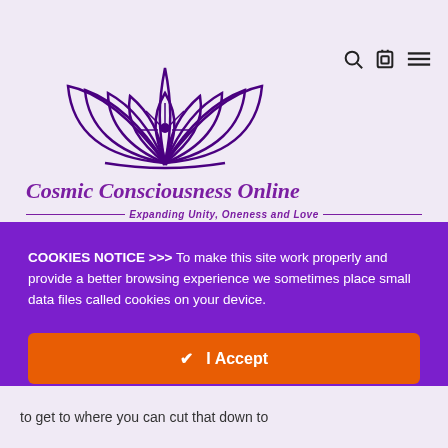[Figure (logo): Lotus flower logo in purple outline style for Cosmic Consciousness Online website]
Cosmic Consciousness Online
Expanding Unity, Oneness and Love
COOKIES NOTICE >>> To make this site work properly and provide a better browsing experience we sometimes place small data files called cookies on your device.
✔  I Accept
Learn More →
Change Settings ⚙
to get to where you can cut that down to